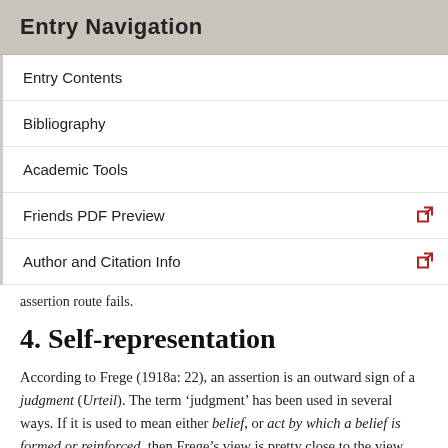Entry Navigation
Entry Contents
Bibliography
Academic Tools
Friends PDF Preview
Author and Citation Info
assertion route fails.
4. Self-representation
According to Frege (1918a: 22), an assertion is an outward sign of a judgment (Urteil). The term ‘judgment’ has been used in several ways. If it is used to mean either belief, or act by which a belief is formed or reinforced, then Frege’s view is pretty close to the view that assertion is the expression of belief.